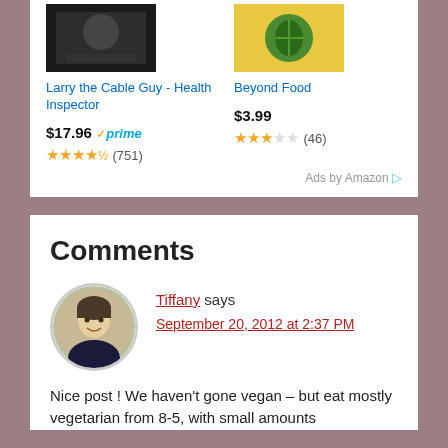[Figure (screenshot): Amazon ad panel showing two products: Larry the Cable Guy - Health Inspector ($17.96, Prime, 4.5 stars, 751 reviews) and Beyond Food ($3.99, 3 stars, 46 reviews)]
Larry the Cable Guy - Health Inspector
$17.96 ✓prime
★★★★½ (751)
Beyond Food
$3.99
★★★☆☆ (46)
Ads by Amazon
Comments
Tiffany says
September 20, 2012 at 2:37 PM
Nice post ! We haven't gone vegan – but eat mostly vegetarian from 8-5, with small amounts